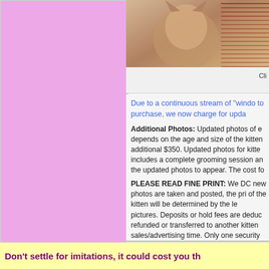[Figure (photo): Photo of a cat or kitten with some text/newspaper in the background, partially cropped on the right side]
Cli
Due to a continuous stream of "windo to purchase, we now charge for upda
Additional Photos: Updated photos of e depends on the age and size of the kitten additional $350. Updated photos for kitte includes a complete grooming session an the updated photos to appear. The cost fo
PLEASE READ FINE PRINT: We DC new photos are taken and posted, the pri of the kitten will be determined by the le pictures. Deposits or hold fees are deduc refunded or transferred to another kitten sales/advertising time. Only one security week. There is only one of each kitten ar minute and sold the next. Placing a depo
Don't settle for imitations, it could cost you th